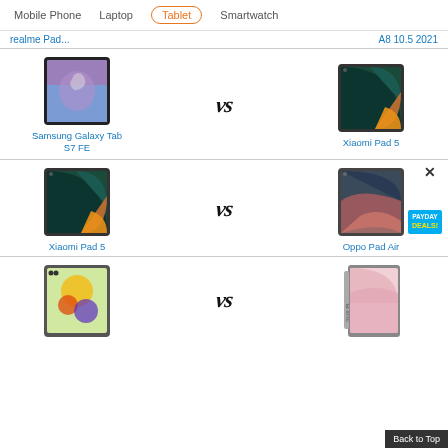Mobile Phone  Laptop  Tablet  Smartwatch
realme Pad... | A8 10.5 2021
[Figure (photo): Samsung Galaxy Tab S7 FE vs Xiaomi Pad 5 comparison row with tablet images and VS text]
Samsung Galaxy Tab S7 FE
Xiaomi Pad 5
[Figure (photo): Xiaomi Pad 5 vs Oppo Pad Air comparison row with tablet images, VS text, X button, and PAYDAY DEALS badge]
Xiaomi Pad 5
Oppo Pad Air
[Figure (photo): Third comparison row with two tablets and VS text, partially visible]
Back to Top